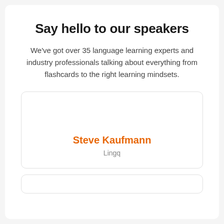Say hello to our speakers
We've got over 35 language learning experts and industry professionals talking about everything from flashcards to the right learning mindsets.
Steve Kaufmann
Lingq